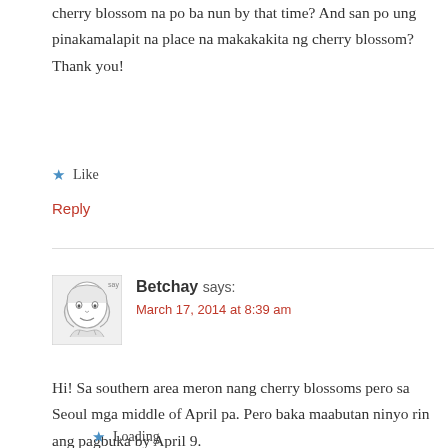cherry blossom na po ba nun by that time? And san po ung pinakamalapit na place na makakakita ng cherry blossom? Thank you!
★ Like
Reply
Betchay says:
March 17, 2014 at 8:39 am
Hi! Sa southern area meron nang cherry blossoms pero sa Seoul mga middle of April pa. Pero baka maabutan ninyo rin ang pagbuka by April 9.
★ Loading